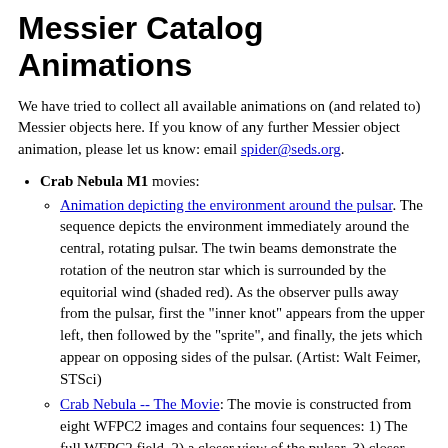Messier Catalog Animations
We have tried to collect all available animations on (and related to) Messier objects here. If you know of any further Messier object animation, please let us know: email spider@seds.org.
Crab Nebula M1 movies:
Animation depicting the environment around the pulsar. The sequence depicts the environment immediately around the central, rotating pulsar. The twin beams demonstrate the rotation of the neutron star which is surrounded by the equitorial wind (shaded red). As the observer pulls away from the pulsar, first the "inner knot" appears from the upper left, then followed by the "sprite", and finally, the jets which appear on opposing sides of the pulsar. (Artist: Walt Feimer, STSci)
Crab Nebula -- The Movie: The movie is constructed from eight WFPC2 images and contains four sequences: 1) The full WFPC2 field, 2) a closer view of the pulsar, 3) closer still detailing the "sprite" which appears towards the top, and 4) extreme closeup of the pulsar and the inner knot just above it.
Animation originating the structure of M31...